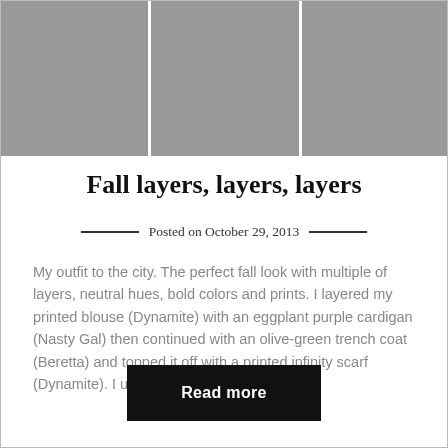[Figure (photo): Three side-by-side photos showing a person's legs and boots — fashion outfit photos showing tall dark boots with layered clothing visible above]
Fall layers, layers, layers
Posted on October 29, 2013
My outfit to the city. The perfect fall look with multiple of layers, neutral hues, bold colors and prints. I layered my printed blouse (Dynamite) with an eggplant purple cardigan (Nasty Gal) then continued with an olive-green trench coat (Beretta) and topped it off with a printed infinity scarf (Dynamite). I used a mustard yellow bag...
Read more